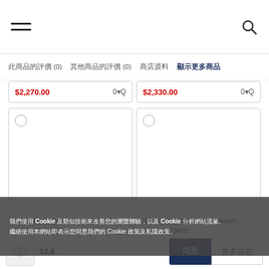Navigation header with hamburger menu and search icon
此商品的評價 (0)　其他商品的評價 (0)　商店資料　顯示更多商品
[Figure (screenshot): Two product cards showing partially visible prices $2,270.00 and $2,330.00 with qty selectors]
[Figure (screenshot): Two product image cards with checkboxes. Left card: 18K 黃色金公名鑽石耳環 (高貴知性) – E3870Y1 (72362). Right card: 18K 紅色金公名鑽石顏鏈 (優雅時尚) – B1109Y2 (73433)]
Cookie 通知覆蓋層文字
同意　更多設定